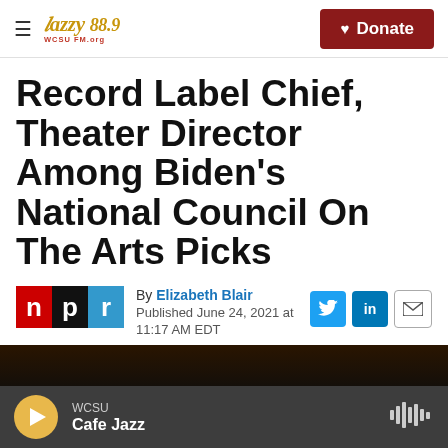Jazzy 88.9 WCSU FM | Donate
Record Label Chief, Theater Director Among Biden's National Council On The Arts Picks
By Elizabeth Blair
Published June 24, 2021 at 11:17 AM EDT
[Figure (screenshot): Bottom dark image preview and audio player bar with WCSU Cafe Jazz playing]
WCSU Cafe Jazz